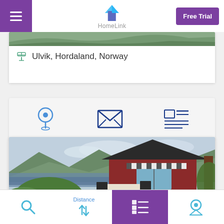[Figure (screenshot): HomeLink app top navigation bar with hamburger menu on left, HomeLink logo in center, and Free Trial button on right]
Ulvik, Hordaland, Norway
[Figure (illustration): Icon row with map pin icon, envelope/mail icon, and listing/article icon]
[Figure (photo): Photo of a red Norwegian house/cabin with outdoor terrace and garden seating, fjord and mountains visible in background]
NORWAY - ULVIK - HOUSE (2 FL)
[Figure (screenshot): Bottom navigation bar with search icon, Distance sort toggle, list view (active/purple), and location pin icon]